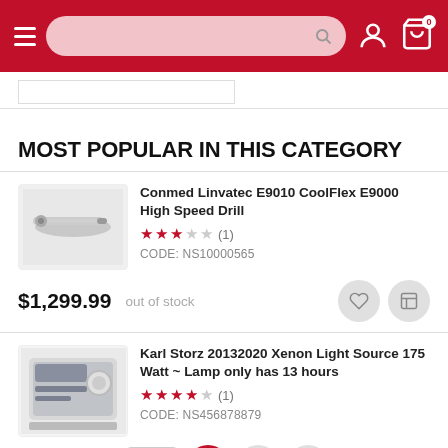Navigation header with hamburger menu, search bar, account icon, cart icon (0 items)
MOST POPULAR IN THIS CATEGORY
[Figure (photo): Conmed Linvatec E9010 CoolFlex E9000 High Speed Drill – product photo showing a metallic surgical drill]
Conmed Linvatec E9010 CoolFlex E9000 High Speed Drill
★★★☆☆ (1)
CODE: NS10000565
$1,299.99  out of stock
[Figure (photo): Karl Storz 20132020 Xenon Light Source 175 Watt - white medical device with front panel display]
Karl Storz 20132020 Xenon Light Source 175 Watt ~ Lamp only has 13 hours
★★★★☆ (1)
CODE: NS456878879
$1,499.99